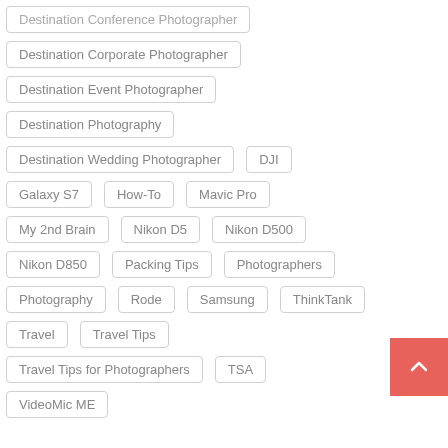Destination Corporate Photographer
Destination Event Photographer
Destination Photography
Destination Wedding Photographer
DJI
Galaxy S7
How-To
Mavic Pro
My 2nd Brain
Nikon D5
Nikon D500
Nikon D850
Packing Tips
Photographers
Photography
Rode
Samsung
ThinkTank
Travel
Travel Tips
Travel Tips for Photographers
TSA
VideoMic ME